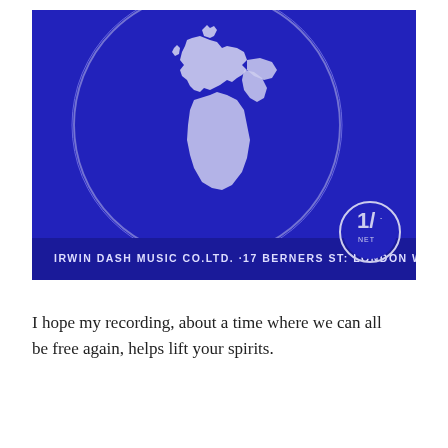[Figure (illustration): Vintage blue album/sheet music cover showing a globe centered on Europe and Africa, with text 'IRWIN DASH MUSIC CO. LTD. · 17 BERNERS ST: LONDON W.I.' at the bottom, and a circular badge showing '1/-' price in the lower right corner.]
I hope my recording, about a time where we can all be free again, helps lift your spirits.